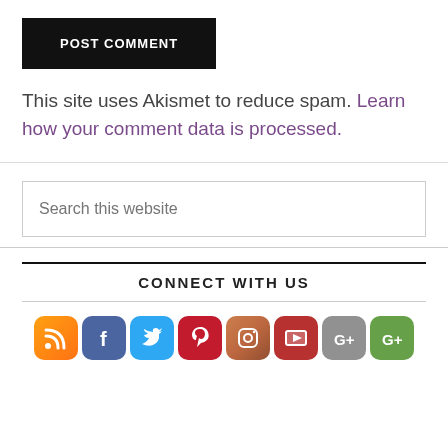POST COMMENT
This site uses Akismet to reduce spam. Learn how your comment data is processed.
Search this website
CONNECT WITH US
[Figure (infographic): Row of 8 social media icon buttons: RSS (orange), Facebook (blue), Twitter (cyan), Pinterest (red), Instagram (brown), YouTube (red), Google+ (grey), Google+ variant (green)]